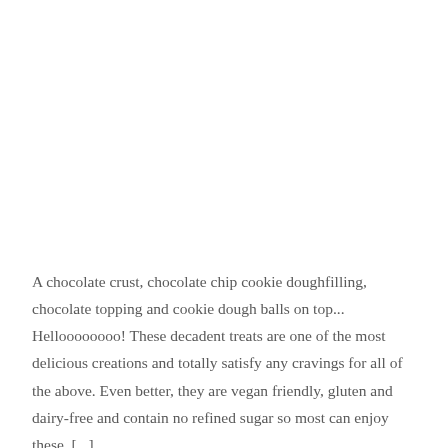A chocolate crust, chocolate chip cookie doughfilling, chocolate topping and cookie dough balls on top... Helloooooooo! These decadent treats are one of the most delicious creations and totally satisfy any cravings for all of the above. Even better, they are vegan friendly, gluten and dairy-free and contain no refined sugar so most can enjoy these. [...]